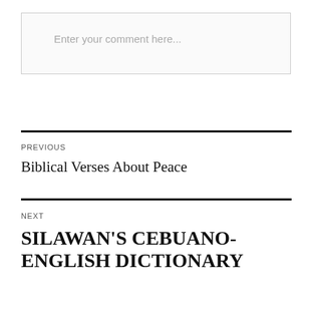[Figure (screenshot): Comment text input box with placeholder text 'Enter your comment here...']
PREVIOUS
Biblical Verses About Peace
NEXT
SILAWAN'S CEBUANO-ENGLISH DICTIONARY